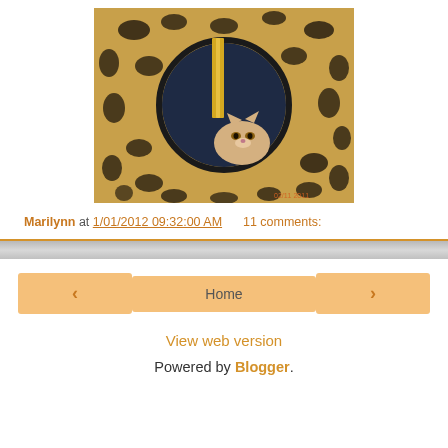[Figure (photo): A cat peeking through a circular hole in a leopard-print pet carrier/bag. The carrier has a tan/yellow background with dark brown/black leopard spots. A gold/metallic ribbon or tag hangs through the hole. The cat is light-colored with amber eyes, visible in the lower right area of the hole. A timestamp in orange reads '2012' in the bottom right corner of the photo.]
Marilynn at 1/01/2012 09:32:00 AM      11 comments:
< Home > View web version Powered by Blogger.